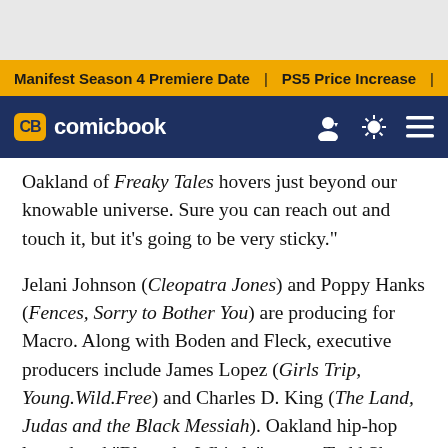Manifest Season 4 Premiere Date | PS5 Price Increase | Jon M
CB comicbook
Oakland of Freaky Tales hovers just beyond our knowable universe. Sure you can reach out and touch it, but it's going to be very sticky."
Jelani Johnson (Cleopatra Jones) and Poppy Hanks (Fences, Sorry to Bother You) are producing for Macro. Along with Boden and Fleck, executive producers include James Lopez (Girls Trip, Young.Wild.Free) and Charles D. King (The Land, Judas and the Black Messiah). Oakland hip-hop legend and "Blow the Whistle" rapper Todd Shaw, a.k.a. Too $hort, also serves as executive producer with his manager David Weintraub.